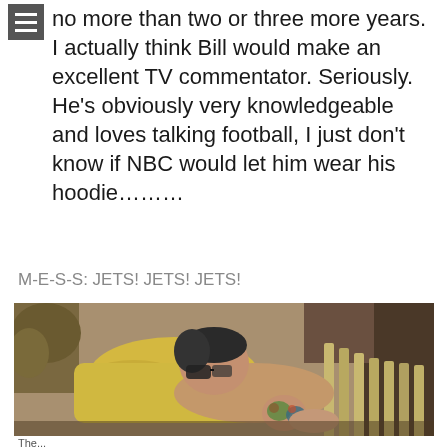no more than two or three more years. I actually think Bill would make an excellent TV commentator. Seriously. He's obviously very knowledgeable and loves talking football, I just don't know if NBC would let him wear his hoodie………
M-E-S-S: JETS! JETS! JETS!
[Figure (photo): A man with tattoos on his arm reclines on a lounge chair outdoors, wearing sunglasses, shirtless, with a yellow towel, surrounded by foliage and another chair in the background.]
The...